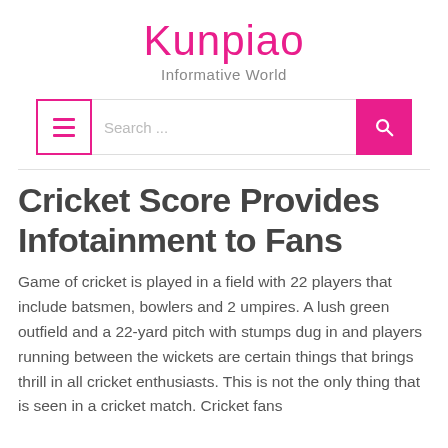Kunpiao
Informative World
[Figure (other): Navigation bar with hamburger menu button (pink border, pink lines), search input field with placeholder 'Search...', and pink search button with magnifying glass icon]
Cricket Score Provides Infotainment to Fans
Game of cricket is played in a field with 22 players that include batsmen, bowlers and 2 umpires. A lush green outfield and a 22-yard pitch with stumps dug in and players running between the wickets are certain things that brings thrill in all cricket enthusiasts. This is not the only thing that is seen in a cricket match. Cricket fans